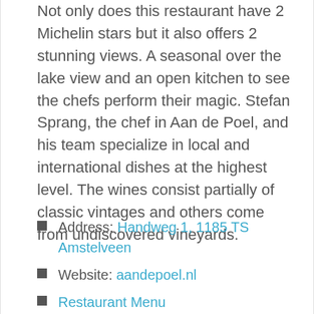Not only does this restaurant have 2 Michelin stars but it also offers 2 stunning views. A seasonal over the lake view and an open kitchen to see the chefs perform their magic. Stefan Sprang, the chef in Aan de Poel, and his team specialize in local and international dishes at the highest level. The wines consist partially of classic vintages and others come from undiscovered vineyards.
Address: Handweg 1, 1185 TS Amstelveen
Website: aandepoel.nl
Restaurant Menu
Phone number: +31 20 345 1763